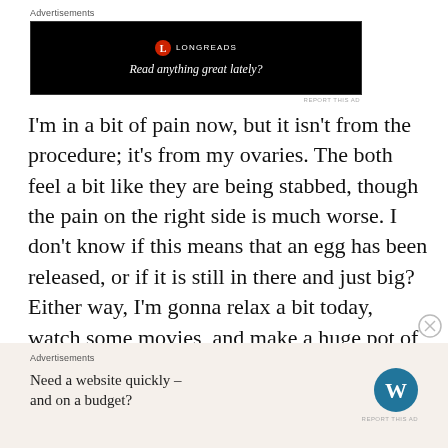Advertisements
[Figure (screenshot): Longreads advertisement banner — black background with Longreads red circle logo, text: 'Read anything great lately?']
I'm in a bit of pain now, but it isn't from the procedure; it's from my ovaries. The both feel a bit like they are being stabbed, though the pain on the right side is much worse. I don't know if this means that an egg has been released, or if it is still in there and just big? Either way, I'm gonna relax a bit today, watch some movies, and make a huge pot of onion soup. If I feel up to it in a bit, I may even do some work.
Advertisements
[Figure (screenshot): WordPress advertisement — 'Need a website quickly – and on a budget?' with WordPress logo on beige background]